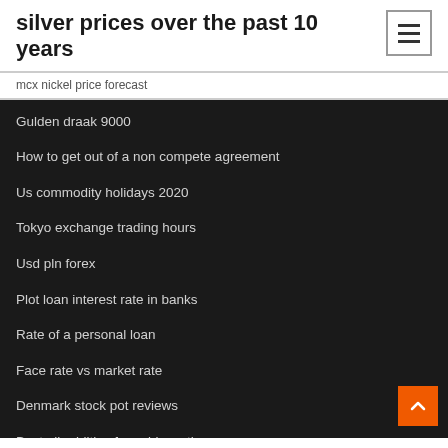silver prices over the past 10 years
mcx nickel price forecast
Gulden draak 9000
How to get out of a non compete agreement
Us commodity holidays 2020
Tokyo exchange trading hours
Usd pln forex
Plot loan interest rate in banks
Rate of a personal loan
Face rate vs market rate
Denmark stock pot reviews
Best oil additive for cold weather